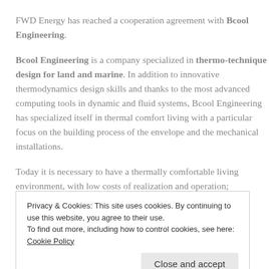FWD Energy has reached a cooperation agreement with Bcool Engineering.
Bcool Engineering is a company specialized in thermo-technique design for land and marine. In addition to innovative thermodynamics design skills and thanks to the most advanced computing tools in dynamic and fluid systems, Bcool Engineering has specialized itself in thermal comfort living with a particular focus on the building process of the envelope and the mechanical installations.
Today it is necessary to have a thermally comfortable living environment, with low costs of realization and operation; unfortunately consumer are more and more often at the
Privacy & Cookies: This site uses cookies. By continuing to use this website, you agree to their use.
To find out more, including how to control cookies, see here: Cookie Policy
Close and accept
of HVAC systems and...